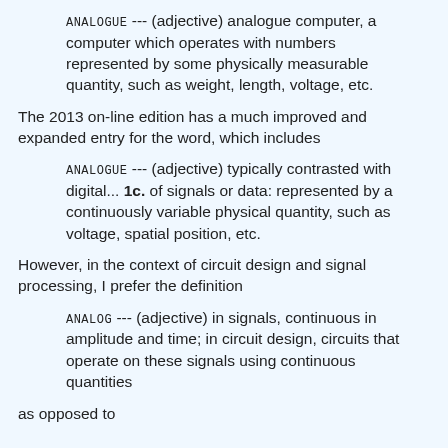ANALOGUE --- (adjective) analogue computer, a computer which operates with numbers represented by some physically measurable quantity, such as weight, length, voltage, etc.
The 2013 on-line edition has a much improved and expanded entry for the word, which includes
ANALOGUE --- (adjective) typically contrasted with digital... 1c. of signals or data: represented by a continuously variable physical quantity, such as voltage, spatial position, etc.
However, in the context of circuit design and signal processing, I prefer the definition
ANALOG --- (adjective) in signals, continuous in amplitude and time; in circuit design, circuits that operate on these signals using continuous quantities
as opposed to